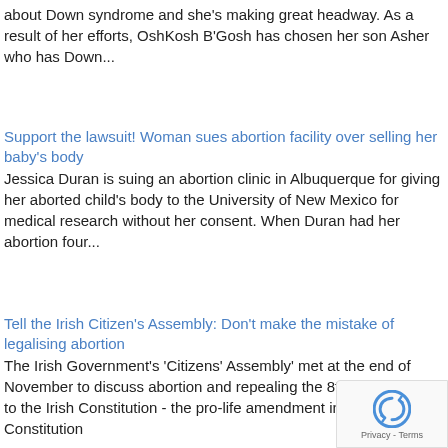about Down syndrome and she's making great headway. As a result of her efforts, OshKosh B'Gosh has chosen her son Asher who has Down...
Support the lawsuit! Woman sues abortion facility over selling her baby's body
Jessica Duran is suing an abortion clinic in Albuquerque for giving her aborted child's body to the University of New Mexico for medical research without her consent. When Duran had her abortion four...
Tell the Irish Citizen's Assembly: Don't make the mistake of legalising abortion
The Irish Government's 'Citizens' Assembly' met at the end of November to discuss abortion and repealing the 8th Amendment to the Irish Constitution - the pro-life amendment in the Irish Constitution